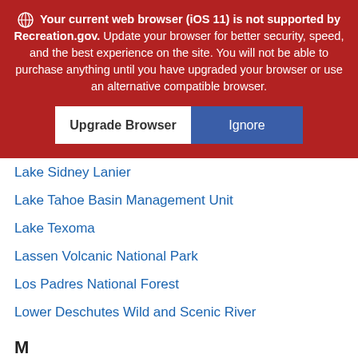Your current web browser (iOS 11) is not supported by Recreation.gov. Update your browser for better security, speed, and the best experience on the site. You will not be able to purchase anything until you have upgraded your browser or use an alternative compatible browser.
[Figure (screenshot): Two buttons: 'Upgrade Browser' (white background, black text) and 'Ignore' (blue background, white text)]
Lake Sidney Lanier
Lake Tahoe Basin Management Unit
Lake Texoma
Lassen Volcanic National Park
Los Padres National Forest
Lower Deschutes Wild and Scenic River
M
Mammoth Cave National Park
Manti-La Sal National Forest
Mark Twain Lake
Melvern Lake
Mississippi River - Pools 11-22